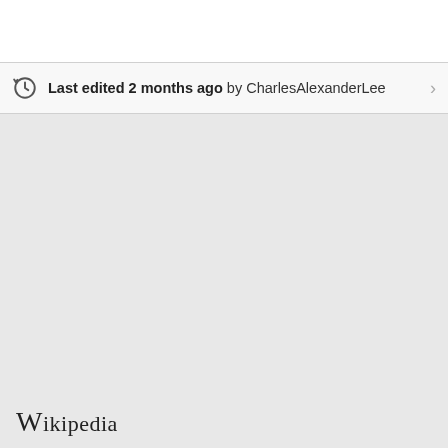Last edited 2 months ago by CharlesAlexanderLee
Wikipedia